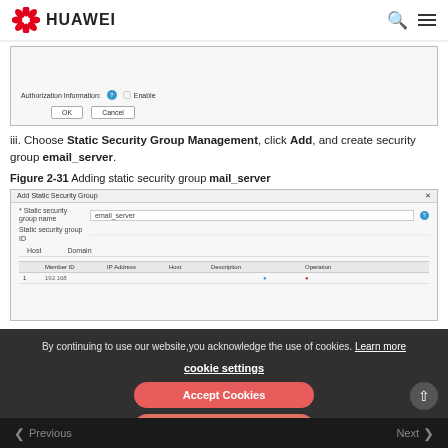HUAWEI
[Figure (screenshot): Partial screenshot of a web form showing Authorization Information label with a blue info icon, an Enable checkbox, and OK/Cancel buttons.]
iii. Choose Static Security Group Management, click Add, and create security group email_server.
Figure 2-31 Adding static security group mail_server
[Figure (screenshot): Screenshot of 'Add Static Security Group' dialog with fields for Static security group name (email_server), Static security group ID, a table with columns including Member ID, IP Address, and action icons.]
By continuing to use our website, you acknowledge the use of cookies. Learn more
cookie settings
Accept Cookies
Reject Cookies
< Previous   Next >